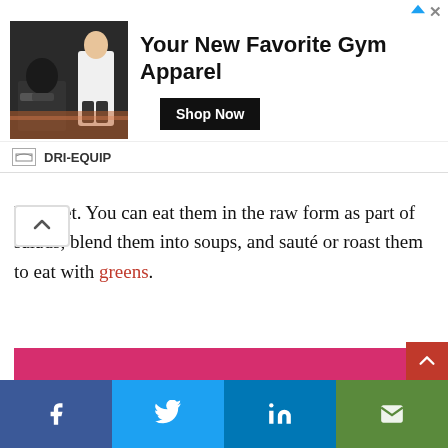[Figure (advertisement): Ad banner for DRI-EQUIP gym apparel showing two athletes, headline 'Your New Favorite Gym Apparel', and a 'Shop Now' button]
loss diet. You can eat them in the raw form as part of salads, blend them into soups, and sauté or roast them to eat with greens.
[Figure (photo): Three radishes with green tops laid on a bright pink/magenta background]
[Figure (infographic): Social share bar with Facebook, Twitter, LinkedIn, and email buttons at bottom of page]